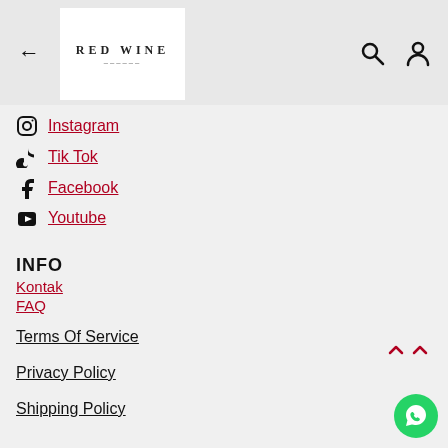[Figure (logo): Red Wine brand logo — white box with 'RED WINE' text in serif capitals with decorative subtext]
Instagram
Tik Tok
Facebook
Youtube
INFO
Kontak
FAQ
Terms Of Service
Privacy Policy
Shipping Policy